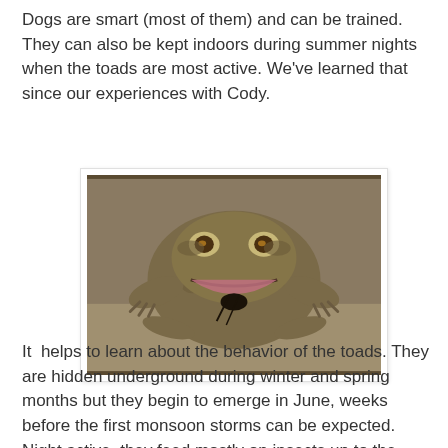Dogs are smart (most of them) and can be trained. They can also be kept indoors during summer nights when the toads are most active. We've learned that since our experiences with Cody.
[Figure (photo): Close-up photograph of a large toad (likely a Sonoran Desert toad) viewed from above, eating what appears to be a black beetle. The toad has mottled brown and grey skin with prominent eyes and splayed legs.]
It  helps to learn about the behavior of the toads. They are hidden underground during winter and spring months but they begin to emerge in June, weeks before the first monsoon storms can be expected. Night active, they feed mostly on insects up to the size of a Palo Verde Beetle. In